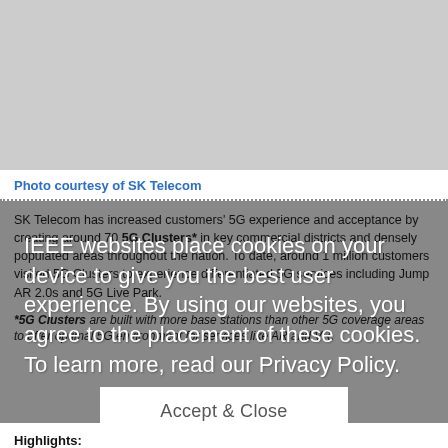[Figure (photo): Photo area - gray placeholder representing an image from SK Telecom]
Photo courtesy of SK Telecom
SK Telecom has increased customers' 5G experience and acceptance by creating around 70 5G Clusters* in key commercial districts and densely populated areas throughout the nation. To date, around 1 million customers visited 5G Clusters to experience differentiated 5G services including Jump AR 2.0s and 5G Live Park.
*5G Clusters are built with more base stations than other 5G coverage areas to offer optimal 5G environment for services like AR and VR.
IEEE websites place cookies on your device to give you the best user experience. By using our websites, you agree to the placement of these cookies. To learn more, read our Privacy Policy.
Accept & Close
Highlights: